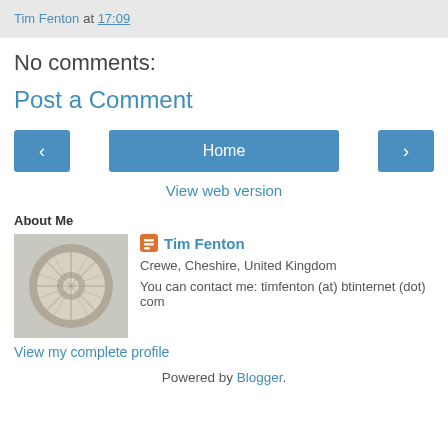Tim Fenton at 17:09
No comments:
Post a Comment
[Figure (other): Navigation buttons: left arrow, Home button, right arrow]
View web version
About Me
[Figure (photo): Profile photo of Tim Fenton showing a circular mosaic or stone carving]
Tim Fenton
Crewe, Cheshire, United Kingdom
You can contact me: timfenton (at) btinternet (dot) com
View my complete profile
Powered by Blogger.